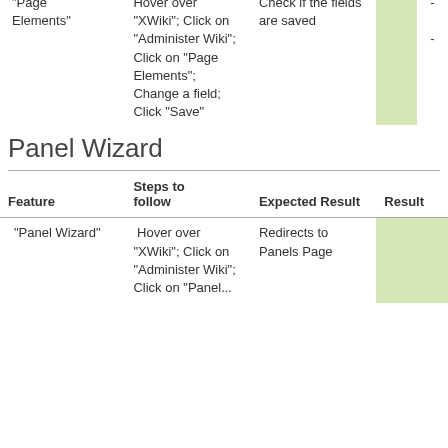| Feature | Steps to follow | Expected Result |  | Result |
| --- | --- | --- | --- | --- |
| "Page Elements" | Hover over "XWiki"; Click on "Administer Wiki"; Click on "Page Elements"; Change a field; Click "Save" | Check if the fields are saved |  | - | - |
Panel Wizard
| Feature | Steps to follow | Expected Result | Result |
| --- | --- | --- | --- |
| "Panel Wizard" | Hover over "XWiki"; Click on "Administer Wiki"; Click on "Panel... | Redirects to Panels Page |  |